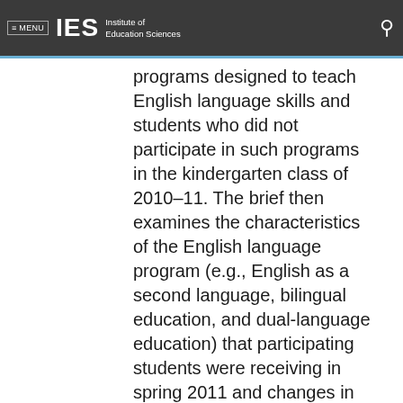≡ MENU  IES  Institute of Education Sciences
programs designed to teach English language skills and students who did not participate in such programs in the kindergarten class of 2010–11. The brief then examines the characteristics of the English language program (e.g., English as a second language, bilingual education, and dual-language education) that participating students were receiving in spring 2011 and changes in participation in these programs between spring